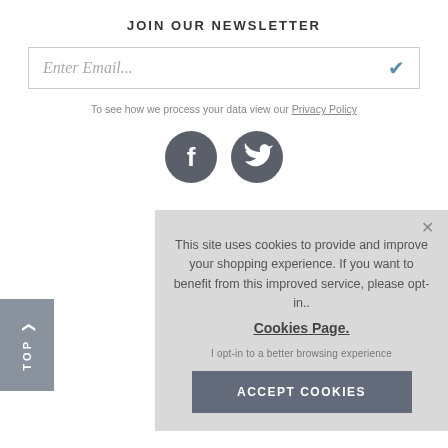JOIN OUR NEWSLETTER
Enter Email...
To see how we process your data view our Privacy Policy
[Figure (illustration): Two circular dark gray social media icons: Facebook (f) and Twitter (bird)]
This site uses cookies to provide and improve your shopping experience. If you want to benefit from this improved service, please opt-in.. Cookies Page. I opt-in to a better browsing experience
ACCEPT COOKIES